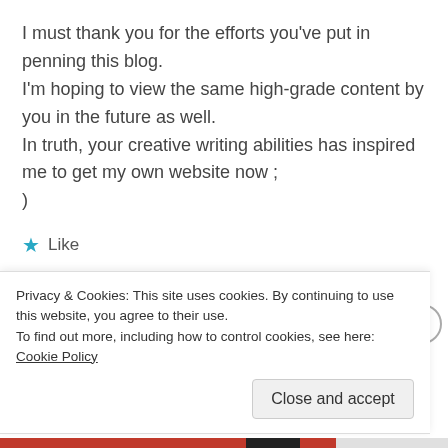I must thank you for the efforts you've put in penning this blog. I'm hoping to view the same high-grade content by you in the future as well. In truth, your creative writing abilities has inspired me to get my own website now ; )
★ Like
LOG IN TO REPLY
Privacy & Cookies: This site uses cookies. By continuing to use this website, you agree to their use. To find out more, including how to control cookies, see here: Cookie Policy
Close and accept